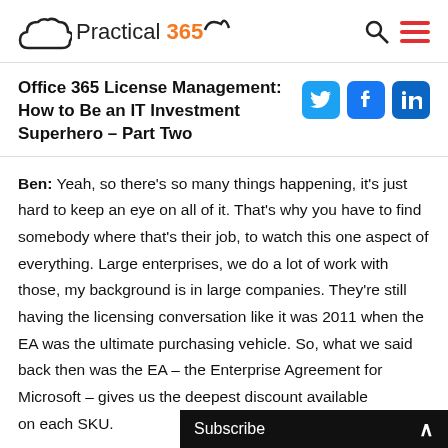Practical 365
Office 365 License Management: How to Be an IT Investment Superhero – Part Two
Ben: Yeah, so there's so many things happening, it's just hard to keep an eye on all of it. That's why you have to find somebody where that's their job, to watch this one aspect of everything. Large enterprises, we do a lot of work with those, my background is in large companies. They're still having the licensing conversation like it was 2011 when the EA was the ultimate purchasing vehicle. So, what we said back then was the EA – the Enterprise Agreement for Microsoft – gives us the deepest discount available on each SKU.